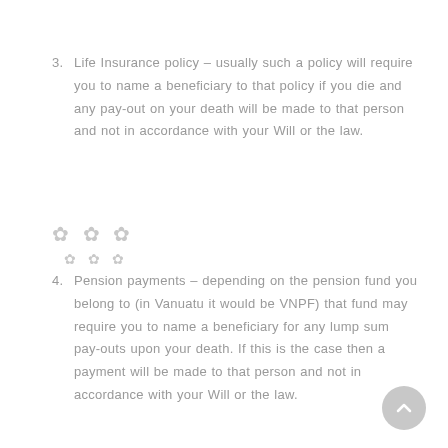3. Life Insurance policy – usually such a policy will require you to name a beneficiary to that policy if you die and any pay-out on your death will be made to that person and not in accordance with your Will or the law.
4. Pension payments – depending on the pension fund you belong to (in Vanuatu it would be VNPF) that fund may require you to name a beneficiary for any lump sum pay-outs upon your death. If this is the case then a payment will be made to that person and not in accordance with your Will or the law.